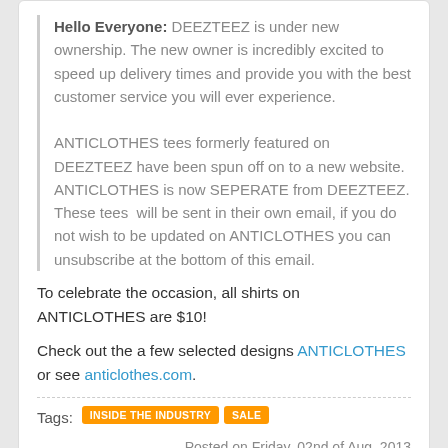Hello Everyone: DEEZTEEZ is under new ownership. The new owner is incredibly excited to speed up delivery times and provide you with the best customer service you will ever experience.
ANTICLOTHES tees formerly featured on DEEZTEEZ have been spun off on to a new website. ANTICLOTHES is now SEPERATE from DEEZTEEZ. These tees will be sent in their own email, if you do not wish to be updated on ANTICLOTHES you can unsubscribe at the bottom of this email.
To celebrate the occasion, all shirts on ANTICLOTHES are $10!
Check out the a few selected designs ANTICLOTHES or see anticlothes.com.
Tags: INSIDE THE INDUSTRY  SALE  Posted on Friday, 02nd of Aug, 2013  ANTICLOTHES  DEEZ TEEZ
Kapo Clothing: Help startup company Kapo Clothing print their 2012 line